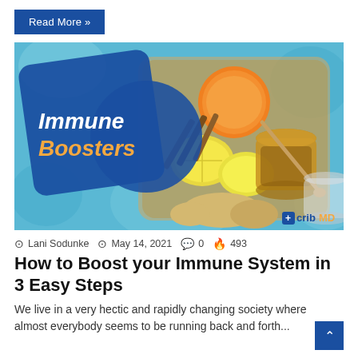Read More »
[Figure (photo): Photo of immune-boosting foods including oranges, lemons, ginger, cinnamon sticks, and honey in a basket on a blue background. Overlaid with a blue rectangle and circle graphic with text 'Immune Boosters'. CribMD logo at bottom right.]
Lani Sodunke  May 14, 2021  0  493
How to Boost your Immune System in 3 Easy Steps
We live in a very hectic and rapidly changing society where almost everybody seems to be running back and forth...